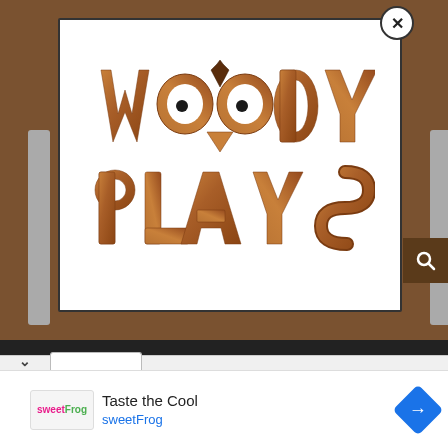[Figure (logo): WoodyPlays logo: wooden-textured letters spelling WOODY PLAYS with an owl face formed by the two O letters, dark pupils, and small feather tuft on top]
Taste the Cool
sweetFrog
[Figure (logo): sweetFrog brand logo in pink and green text]
[Figure (other): Blue diamond-shaped navigation/directions icon with right-pointing arrow]